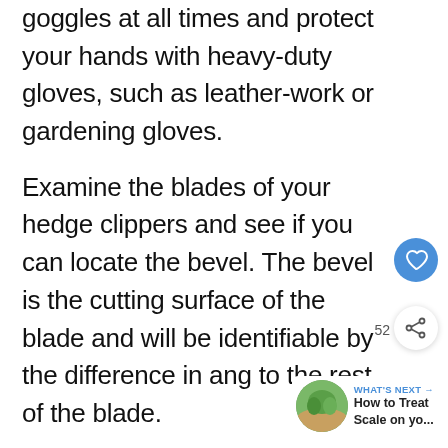goggles at all times and protect your hands with heavy-duty gloves, such as leather-work or gardening gloves.
Examine the blades of your hedge clippers and see if you can locate the bevel. The bevel is the cutting surface of the blade and will be identifiable by the difference in ang to the rest of the blade.